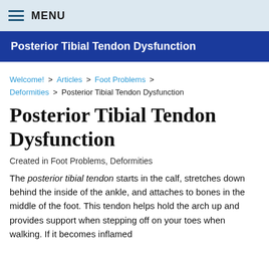MENU
Posterior Tibial Tendon Dysfunction
Welcome! > Articles > Foot Problems > Deformities > Posterior Tibial Tendon Dysfunction
Posterior Tibial Tendon Dysfunction
Created in Foot Problems, Deformities
The posterior tibial tendon starts in the calf, stretches down behind the inside of the ankle, and attaches to bones in the middle of the foot. This tendon helps hold the arch up and provides support when stepping off on your toes when walking. If it becomes inflamed